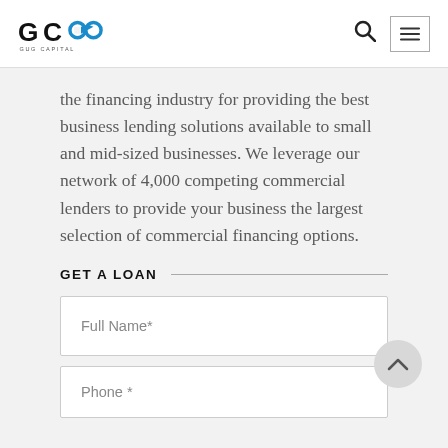GCG Capital
the financing industry for providing the best business lending solutions available to small and mid-sized businesses. We leverage our network of 4,000 competing commercial lenders to provide your business the largest selection of commercial financing options.
GET A LOAN
Full Name*
Phone *